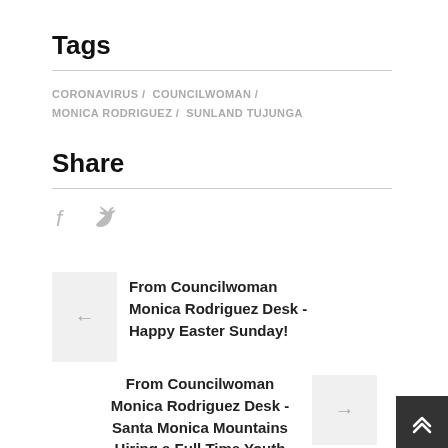Tags
CORONAVIRUS / COUNCILWOMAN / MONICA RODRIGUEZ / SUNLAND TUJUNGA
Share
[Figure (other): Social share icons: Facebook (f) and Twitter (bird icon) in light gray]
From Councilwoman Monica Rodriguez Desk - Happy Easter Sunday!
From Councilwoman Monica Rodriguez Desk - Santa Monica Mountains Hiring a Full Time Youth Crew